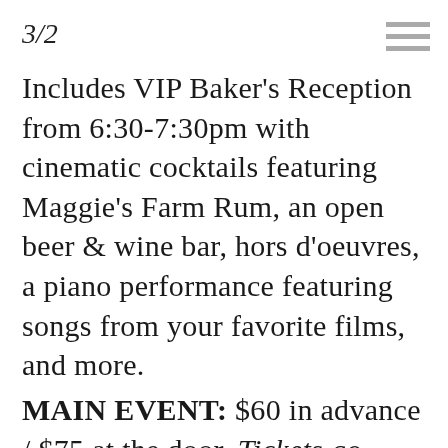3/2
Includes VIP Baker's Reception from 6:30-7:30pm with cinematic cocktails featuring Maggie's Farm Rum, an open beer & wine bar, hors d'oeuvres, a piano performance featuring songs from your favorite films, and more.
MAIN EVENT: $60 in advance / $75 at the door. Tickets go